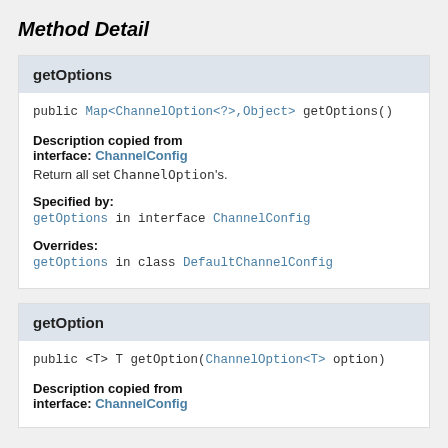Method Detail
getOptions
public Map<ChannelOption<?>,Object> getOptions()
Description copied from interface: ChannelConfig
Return all set ChannelOption's.
Specified by:
getOptions in interface ChannelConfig
Overrides:
getOptions in class DefaultChannelConfig
getOption
public <T> T getOption(ChannelOption<T> option)
Description copied from interface: ChannelConfig